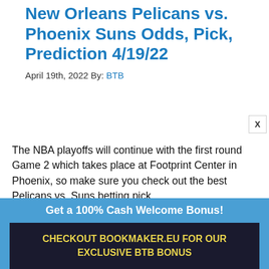New Orleans Pelicans vs. Phoenix Suns Odds, Pick, Prediction 4/19/22
April 19th, 2022 By: BTB
The NBA playoffs will continue with the first round Game 2 which takes place at Footprint Center in Phoenix, so make sure you check out the best Pelicans vs. Suns betting pick and...
Get a 100% Cash Welcome Bonus!
CHECKOUT BOOKMAKER.EU FOR OUR EXCLUSIVE BTB BONUS